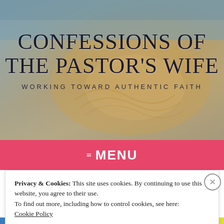[Figure (photo): Blurred background photo of a coffee cup with latte art, with teal/grey upper portion and warm golden tones in the lower portion]
CONFESSIONS OF THE PASTOR'S WIFE
WORKING TOWARD AUTHENTIC FAITH
≡ MENU
Privacy & Cookies: This site uses cookies. By continuing to use this website, you agree to their use.
To find out more, including how to control cookies, see here:
Cookie Policy
Close and accept